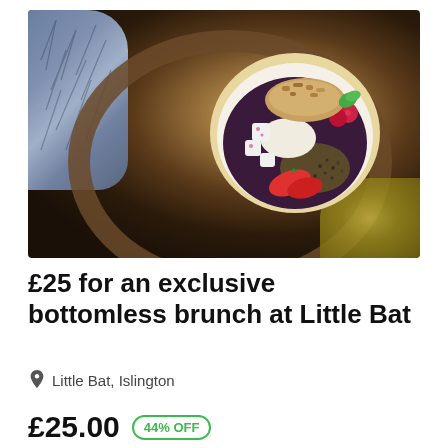[Figure (photo): Overhead photo of a colorful acai/granola bowl with dragon fruit, raspberries, strawberries, coconut, and seeds in a white bowl with gold rim, sitting on a wooden tray/ring against a dark background, with a blue patterned vase on the left and golden glitter on the right]
£25 for an exclusive bottomless brunch at Little Bat
Little Bat, Islington
£25.00  44% OFF